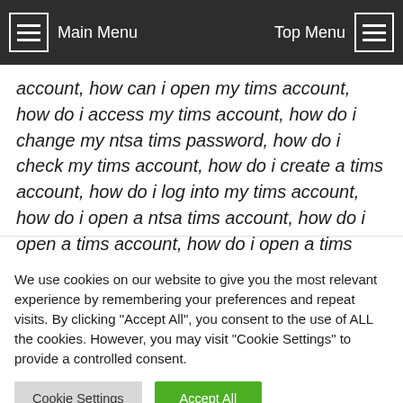Main Menu | Top Menu
account, how can i open my tims account, how do i access my tims account, how do i change my ntsa tims password, how do i check my tims account, how do i create a tims account, how do i log into my tims account, how do i open a ntsa tims account, how do i open a tims account, how do i open a tims ntsa account, how do i recover my ntsa tims account, how do i register my ntsa tims account, how do i register
We use cookies on our website to give you the most relevant experience by remembering your preferences and repeat visits. By clicking "Accept All", you consent to the use of ALL the cookies. However, you may visit "Cookie Settings" to provide a controlled consent.